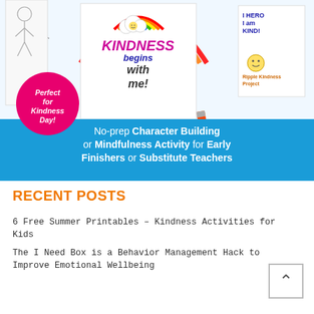[Figure (illustration): Educational product image showing kindness coloring pages with rainbow, children illustrations, and colored pencils. Pink circle badge reads 'Perfect for Kindness Day!'. Blue banner at bottom reads 'No-prep Character Building or Mindfulness Activity for Early Finishers or Substitute Teachers'. Ripple Kindness Project branding visible.]
RECENT POSTS
6 Free Summer Printables – Kindness Activities for Kids
The I Need Box is a Behavior Management Hack to Improve Emotional Wellbeing